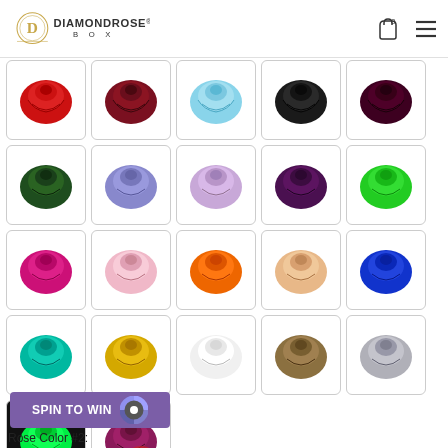[Figure (logo): DiamondRose Box logo with golden circular emblem and text]
[Figure (infographic): Grid of 22 preserved rose color options: red, dark red, light blue, black, dark purple/maroon, dark green, periwinkle, lavender, deep purple, bright green, hot pink, light pink, orange, peach, royal blue, teal, yellow/gold, white, gold/bronze, silver, glow-in-dark green, red-purple duo]
[Figure (other): Spin to Win button with spinning wheel icon]
Rose Color #2: